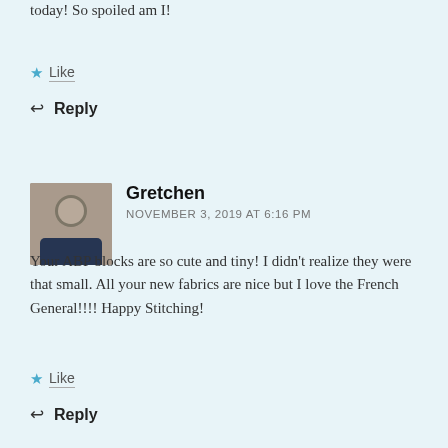today! So spoiled am I!
★ Like
↩ Reply
Gretchen
NOVEMBER 3, 2019 AT 6:16 PM
Your ABP blocks are so cute and tiny! I didn't realize they were that small. All your new fabrics are nice but I love the French General!!!! Happy Stitching!
★ Like
↩ Reply